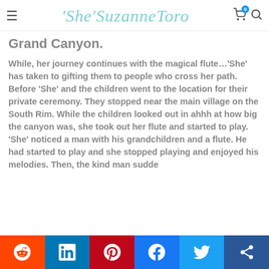'She'SuzanneToro
Grand Canyon.
While, her journey continues with the magical flute…'She' has taken to gifting them to people who cross her path. Before 'She' and the children went to the location for their private ceremony. They stopped near the main village on the South Rim. While the children looked out in ahhh at how big the canyon was, she took out her flute and started to play. 'She' noticed a man with his grandchildren and a flute. He had started to play and she stopped playing and enjoyed his melodies. Then, the kind man sudde...